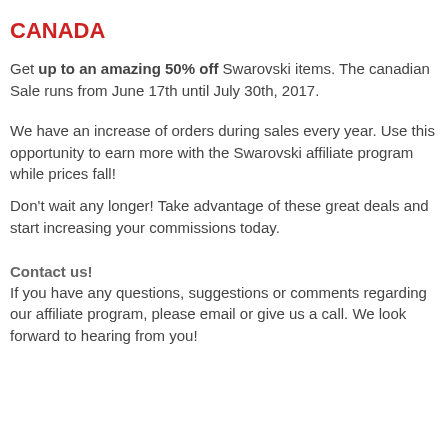CANADA
Get up to an amazing 50% off Swarovski items. The canadian Sale runs from June 17th until July 30th, 2017.
We have an increase of orders during sales every year. Use this opportunity to earn more with the Swarovski affiliate program while prices fall!
Don't wait any longer! Take advantage of these great deals and start increasing your commissions today.
Contact us!
If you have any questions, suggestions or comments regarding our affiliate program, please email or give us a call. We look forward to hearing from you!